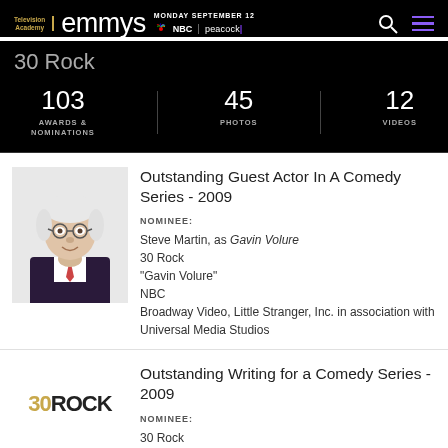Television Academy | emmys | MONDAY SEPTEMBER 12 NBC | peacock
30 Rock
| AWARDS & NOMINATIONS | PHOTOS | VIDEOS |
| --- | --- | --- |
| 103 | 45 | 12 |
[Figure (photo): Headshot of Steve Martin, a man with white hair and round glasses wearing a dark suit with tie]
Outstanding Guest Actor In A Comedy Series - 2009
NOMINEE:
Steve Martin, as Gavin Volure
30 Rock
"Gavin Volure"
NBC
Broadway Video, Little Stranger, Inc. in association with Universal Media Studios
[Figure (logo): 30 ROCK logo with '30' in gold/yellow and 'ROCK' in black bold lettering]
Outstanding Writing for a Comedy Series - 2009
NOMINEE:
30 Rock